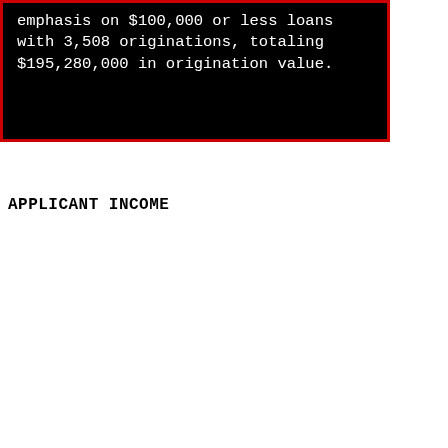emphasis on $100,000 or less loans with 3,508 originations, totaling $195,280,000 in origination value.
APPLICANT INCOME